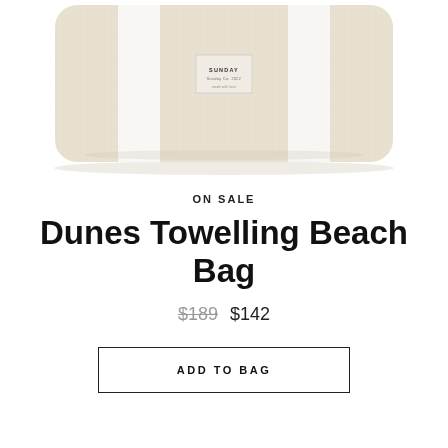[Figure (photo): A beige/cream colored large tote beach bag made of towelling fabric, with two white vertical stripes and a small square label reading SUNDAY in the center. The bag is photographed against a white background, cropped to show the body of the bag.]
ON SALE
Dunes Towelling Beach Bag
$189  $142